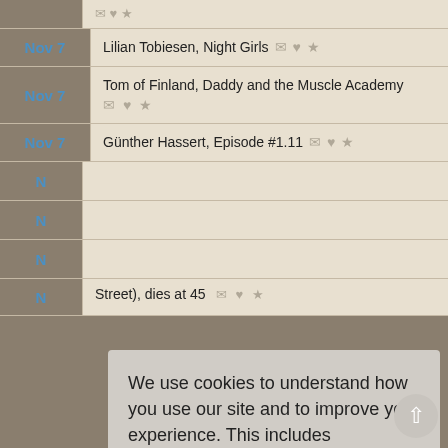Nov 7 — Lilian Tobiesen, Night Girls
Nov 7 — Tom of Finland, Daddy and the Muscle Academy
Nov 7 — Günther Hassert, Episode #1.11
We use cookies to understand how you use our site and to improve your experience. This includes personalizing content for you and for the display and tracking of advertising. By continuing to use our site, you accept and agree to our use of cookies.  Privacy Policy
Got it!
Street), dies at 45